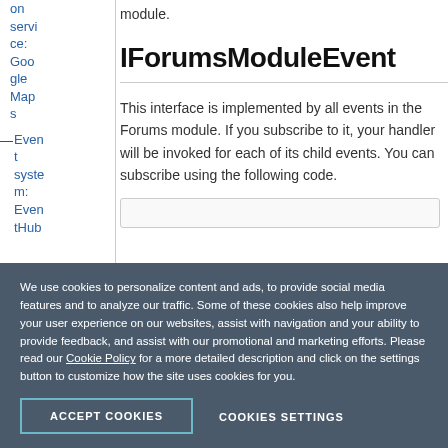on service: Google Maps
Event system: EventHub
IForumsModuleEvent
This interface is implemented by all events in the Forums module. If you subscribe to it, your handler will be invoked for each of its child events. You can subscribe using the following code.
We use cookies to personalize content and ads, to provide social media features and to analyze our traffic. Some of these cookies also help improve your user experience on our websites, assist with navigation and your ability to provide feedback, and assist with our promotional and marketing efforts. Please read our Cookie Policy for a more detailed description and click on the settings button to customize how the site uses cookies for you.
ACCEPT COOKIES
COOKIES SETTINGS